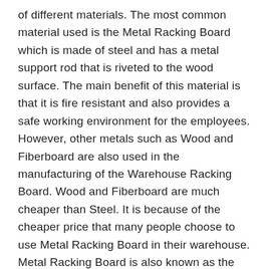of different materials. The most common material used is the Metal Racking Board which is made of steel and has a metal support rod that is riveted to the wood surface. The main benefit of this material is that it is fire resistant and also provides a safe working environment for the employees. However, other metals such as Wood and Fiberboard are also used in the manufacturing of the Warehouse Racking Board. Wood and Fiberboard are much cheaper than Steel. It is because of the cheaper price that many people choose to use Metal Racking Board in their warehouse. Metal Racking Board is also known as the Plastic Racking Board, Metal Racking Board, and Plastic Racking Board. Steel Warehouse Racking Boards are preferred by many warehouse owners, as they are cost-effective